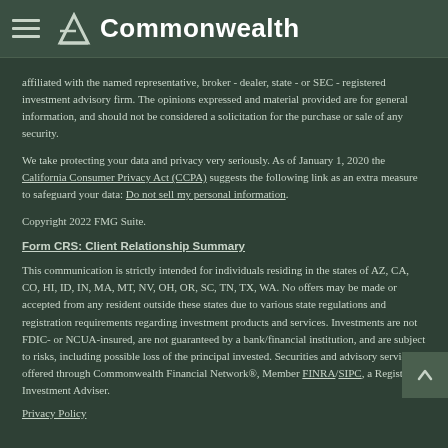Commonwealth
affiliated with the named representative, broker - dealer, state - or SEC - registered investment advisory firm. The opinions expressed and material provided are for general information, and should not be considered a solicitation for the purchase or sale of any security.
We take protecting your data and privacy very seriously. As of January 1, 2020 the California Consumer Privacy Act (CCPA) suggests the following link as an extra measure to safeguard your data: Do not sell my personal information.
Copyright 2022 FMG Suite.
Form CRS: Client Relationship Summary
This communication is strictly intended for individuals residing in the states of AZ, CA, CO, HI, ID, IN, MA, MT, NV, OH, OR, SC, TN, TX, WA. No offers may be made or accepted from any resident outside these states due to various state regulations and registration requirements regarding investment products and services. Investments are not FDIC- or NCUA-insured, are not guaranteed by a bank/financial institution, and are subject to risks, including possible loss of the principal invested. Securities and advisory services offered through Commonwealth Financial Network®, Member FINRA/SIPC, a Registered Investment Adviser.
Privacy Policy